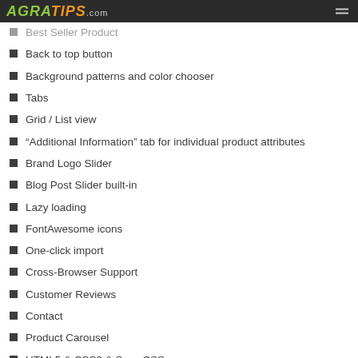AGRATIPS.com
Best Seller Product
Back to top button
Background patterns and color chooser
Tabs
Grid / List view
“Additional Information” tab for individual product attributes
Brand Logo Slider
Blog Post Slider built-in
Lazy loading
FontAwesome icons
One-click import
Cross-Browser Support
Customer Reviews
Contact
Product Carousel
HTML5 & CSS3 & Sass CSS
100% fully Responsive
Social networking